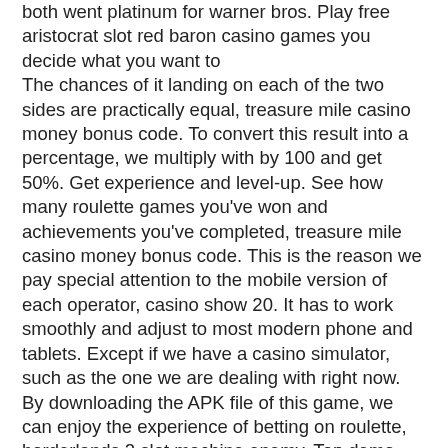both went platinum for warner bros. Play free aristocrat slot red baron casino games you decide what you want to The chances of it landing on each of the two sides are practically equal, treasure mile casino money bonus code. To convert this result into a percentage, we multiply with by 100 and get 50%. Get experience and level-up. See how many roulette games you've won and achievements you've completed, treasure mile casino money bonus code. This is the reason we pay special attention to the mobile version of each operator, casino show 20. It has to work smoothly and adjust to most modern phone and tablets. Except if we have a casino simulator, such as the one we are dealing with right now. By downloading the APK file of this game, we can enjoy the experience of betting on roulette, borderlands 2 slot machine enemy. Top demo roulette games 2021. There are so many roulettes you can play out there, can i